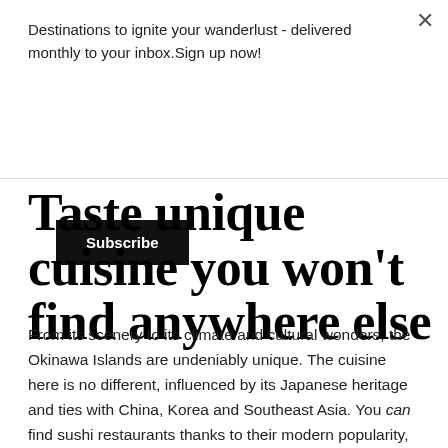Destinations to ignite your wanderlust - delivered monthly to your inbox.Sign up now!
Subscribe
Taste unique cuisine you won't find anywhere else
From its scenery to its climate and cultural wonders, the Okinawa Islands are undeniably unique. The cuisine here is no different, influenced by its Japanese heritage and ties with China, Korea and Southeast Asia. You can find sushi restaurants thanks to their modern popularity, but resist falling into ordering your usual go-tos. Instead, pull up a chair or stool at one of Okinawa's local hotspots for gastronomic delights you won't find anywhere else in the world.